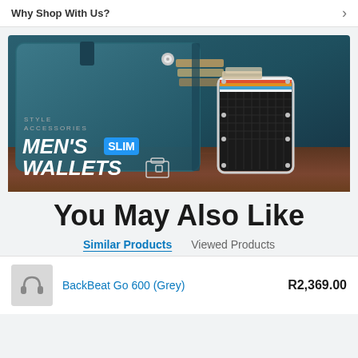Why Shop With Us?
[Figure (photo): Promotional banner for Men's Slim Wallets showing a teal leather wallet and a black slim metal wallet with colorful stripe detailing. Text overlay reads STYLE ACCESSORIES / MEN'S SLIM WALLETS with a blue SLIM badge.]
You May Also Like
Similar Products   Viewed Products
BackBeat Go 600 (Grey)   R2,369.00